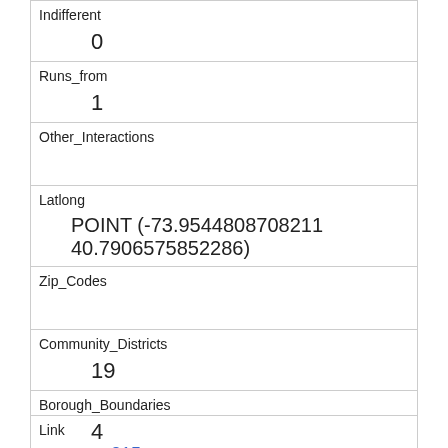| Indifferent | 0 |
| Runs_from | 1 |
| Other_Interactions |  |
| Latlong | POINT (-73.9544808708211 40.7906575852286) |
| Zip_Codes |  |
| Community_Districts | 19 |
| Borough_Boundaries | 4 |
| City_Council_Districts | 19 |
| Police_Precincts | 13 |
| Link | 215 |